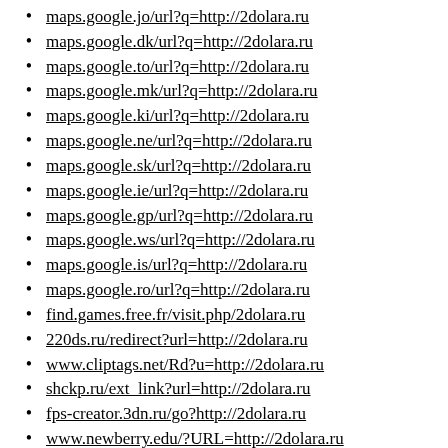maps.google.jo/url?q=http://2dolara.ru
maps.google.dk/url?q=http://2dolara.ru
maps.google.to/url?q=http://2dolara.ru
maps.google.mk/url?q=http://2dolara.ru
maps.google.ki/url?q=http://2dolara.ru
maps.google.ne/url?q=http://2dolara.ru
maps.google.sk/url?q=http://2dolara.ru
maps.google.ie/url?q=http://2dolara.ru
maps.google.gp/url?q=http://2dolara.ru
maps.google.ws/url?q=http://2dolara.ru
maps.google.is/url?q=http://2dolara.ru
maps.google.ro/url?q=http://2dolara.ru
find.games.free.fr/visit.php/2dolara.ru
220ds.ru/redirect?url=http://2dolara.ru
www.cliptags.net/Rd?u=http://2dolara.ru
shckp.ru/ext_link?url=http://2dolara.ru
fps-creator.3dn.ru/go?http://2dolara.ru
www.newberry.edu/?URL=http://2dolara.ru